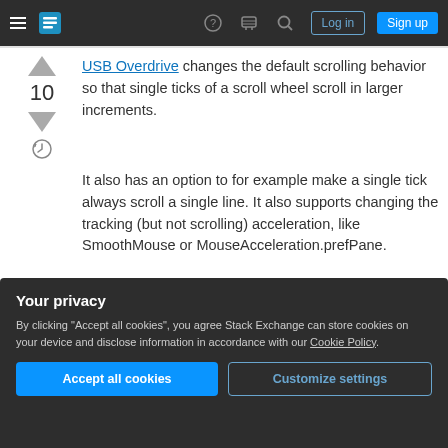Stack Exchange navigation bar with hamburger menu, logo, help, chat, search icons, Log in and Sign up buttons
USB Overdrive changes the default scrolling behavior so that single ticks of a scroll wheel scroll in larger increments.
It also has an option to for example make a single tick always scroll a single line. It also supports changing the tracking (but not scrolling) acceleration, like SmoothMouse or MouseAcceleration.prefPane.
Your privacy
By clicking "Accept all cookies", you agree Stack Exchange can store cookies on your device and disclose information in accordance with our Cookie Policy.
Accept all cookies   Customize settings